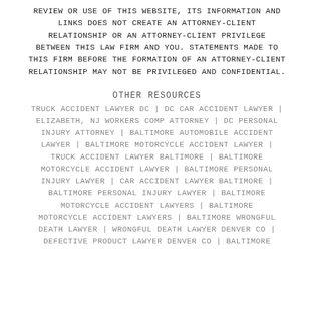REVIEW OR USE OF THIS WEBSITE, ITS INFORMATION AND LINKS DOES NOT CREATE AN ATTORNEY-CLIENT RELATIONSHIP OR AN ATTORNEY-CLIENT PRIVILEGE BETWEEN THIS LAW FIRM AND YOU. STATEMENTS MADE TO THIS FIRM BEFORE THE FORMATION OF AN ATTORNEY-CLIENT RELATIONSHIP MAY NOT BE PRIVILEGED AND CONFIDENTIAL.
OTHER RESOURCES
TRUCK ACCIDENT LAWYER DC | DC CAR ACCIDENT LAWYER | ELIZABETH, NJ WORKERS COMP ATTORNEY | DC PERSONAL INJURY ATTORNEY | BALTIMORE AUTOMOBILE ACCIDENT LAWYER | BALTIMORE MOTORCYCLE ACCIDENT LAWYER | TRUCK ACCIDENT LAWYER BALTIMORE | BALTIMORE MOTORCYCLE ACCIDENT LAWYER | BALTIMORE PERSONAL INJURY LAWYER | CAR ACCIDENT LAWYER BALTIMORE | BALTIMORE PERSONAL INJURY LAWYER | BALTIMORE MOTORCYCLE ACCIDENT LAWYERS | BALTIMORE MOTORCYCLE ACCIDENT LAWYERS | BALTIMORE WRONGFUL DEATH LAWYER | WRONGFUL DEATH LAWYER DENVER CO | DEFECTIVE PRODUCT LAWYER DENVER CO | BALTIMORE